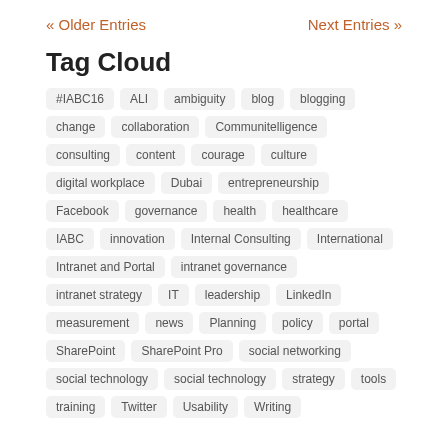« Older Entries    Next Entries »
Tag Cloud
#IABC16
ALI
ambiguity
blog
blogging
change
collaboration
Communitelligence
consulting
content
courage
culture
digital workplace
Dubai
entrepreneurship
Facebook
governance
health
healthcare
IABC
innovation
Internal Consulting
International
Intranet and Portal
intranet governance
intranet strategy
IT
leadership
LinkedIn
measurement
news
Planning
policy
portal
SharePoint
SharePoint Pro
social networking
social technology
social technology
strategy
tools
training
Twitter
Usability
Writing